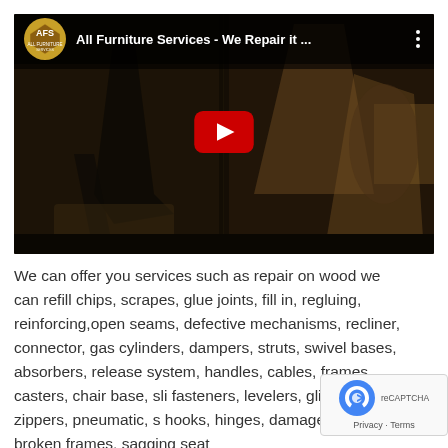[Figure (screenshot): YouTube video thumbnail showing 'All Furniture Services - We Repair it ...' with channel logo and play button overlay on a dark furniture repair scene]
We can offer you services such as repair on wood we can refill chips, scrapes, glue joints, fill in, regluing, reinforcing,open seams, defective mechanisms, recliner, connector, gas cylinders, dampers, struts, swivel bases, absorbers, release system, handles, cables, frames, casters, chair base, sli fasteners, levelers, glides, stretch, zippers, pneumatic, s hooks, hinges, damaged and broken frames, sagging seat